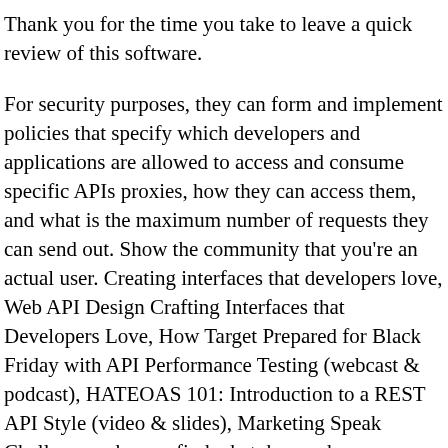Thank you for the time you take to leave a quick review of this software.
For security purposes, they can form and implement policies that specify which developers and applications are allowed to access and consume specific APIs proxies, how they can access them, and what is the maximum number of requests they can send out. Show the community that you're an actual user. Creating interfaces that developers love, Web API Design Crafting Interfaces that Developers Love, How Target Prepared for Black Friday with API Performance Testing (webcast & podcast), HATEOAS 101: Introduction to a REST API Style (video & slides), Marketing Speak Challenge: who can find what, how, who uses, or why apigee is used given cited info from